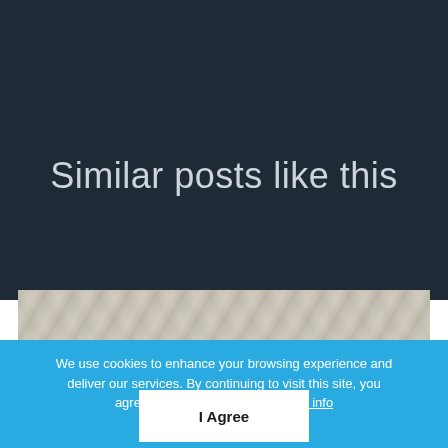Similar posts like this
[Figure (photo): Partial view of a stone or brick textured surface, light beige/grey tones]
We use cookies to enhance your browsing experience and deliver our services. By continuing to visit this site, you agree to our use of cookies. More info
I Agree